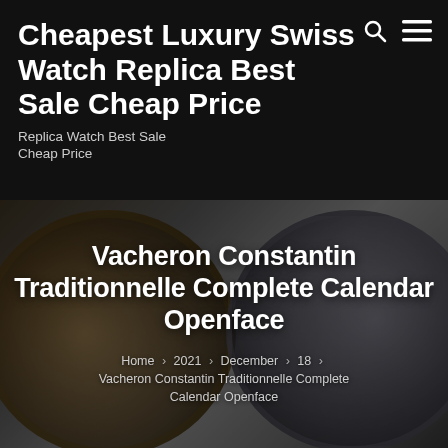Cheapest Luxury Swiss Watch Replica Best Sale Cheap Price
Replica Watch Best Sale Cheap Price
[Figure (screenshot): Website header with black background showing site title and navigation icons (search and hamburger menu)]
Vacheron Constantin Traditionnelle Complete Calendar Openface
Home > 2021 > December > 18 > Vacheron Constantin Traditionnelle Complete Calendar Openface